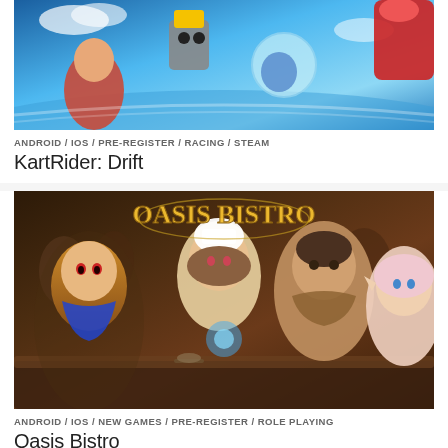[Figure (screenshot): KartRider Drift game banner showing colorful kart racing characters and vehicles in a bright blue sky setting with robot and bubble dome characters]
ANDROID / IOS / PRE-REGISTER / RACING / STEAM
KartRider: Drift
[Figure (screenshot): Oasis Bistro game banner showing anime-style RPG characters including a boy with red eyes, a female chef character, a muscular man, and a blonde elf girl, with Oasis Bistro logo at top]
ANDROID / IOS / NEW GAMES / PRE-REGISTER / ROLE PLAYING
Oasis Bistro